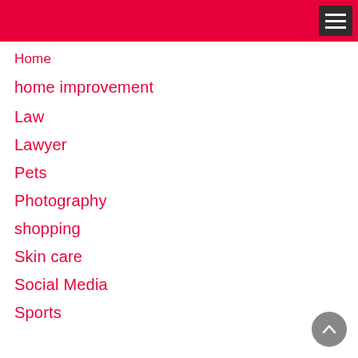Home
home improvement
Law
Lawyer
Pets
Photography
shopping
Skin care
Social Media
Sports